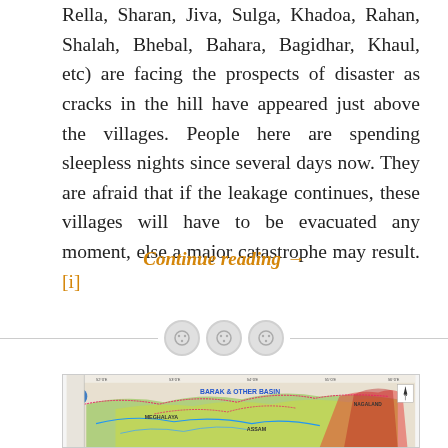Rella, Sharan, Jiva, Sulga, Khadoa, Rahan, Shalah, Bhebal, Bahara, Bagidhar, Khaul, etc) are facing the prospects of disaster as cracks in the hill have appeared just above the villages. People here are spending sleepless nights since several days now. They are afraid that if the leakage continues, these villages will have to be evacuated any moment, else a major catastrophe may result.[i]
Continue reading →
[Figure (map): Partial view of a topographic/basin map titled 'BARAK & OTHER BASIN' showing terrain of northeastern India including Meghalaya, Assam, and Nagaland regions with river systems and elevation coloring.]